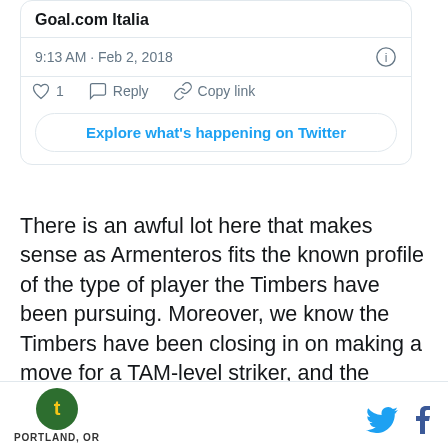[Figure (screenshot): Twitter embedded card showing Goal.com Italia account name, timestamp 9:13 AM · Feb 2, 2018, heart/like count of 1, Reply button, Copy link button, and Explore what's happening on Twitter button]
There is an awful lot here that makes sense as Armenteros fits the known profile of the type of player the Timbers have been pursuing. Moreover, we know the Timbers have been closing in on making a move for a TAM-level striker, and the timeline of the reports roughly fits what Merritt Paulson has said about the striker search. This move, quite simply, could very, very
PORTLAND, OR